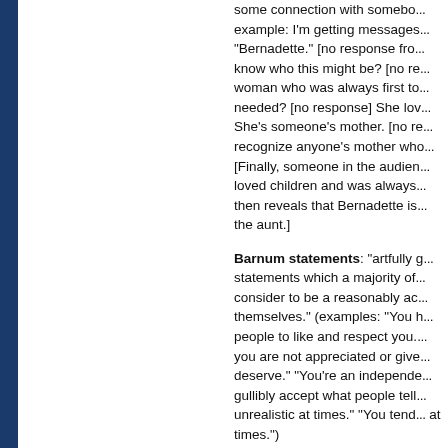some connection with somebody example: I'm getting messages... "Bernadette." [no response from know who this might be? [no re... woman who was always first to... needed? [no response] She lov... She's someone's mother. [no re... recognize anyone's mother who... [Finally, someone in the audien... loved children and was always... then reveals that Bernadette is... the aunt.]
Barnum statements: "artfully g... statements which a majority of... consider to be a reasonably ac... themselves." (examples: "You h... people to like and respect you.'... you are not appreciated or give... deserve." "You're an independe... gullibly accept what people tell... unrealistic at times." "You tend... at times.")
The next program in the series will b...